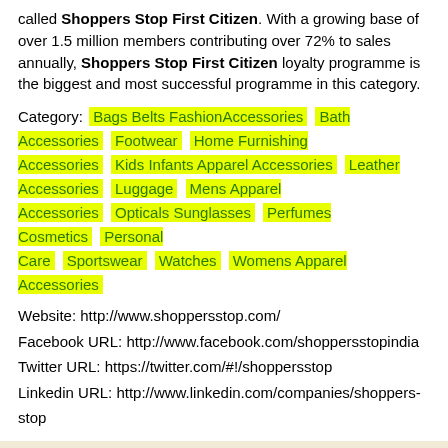called Shoppers Stop First Citizen. With a growing base of over 1.5 million members contributing over 72% to sales annually, Shoppers Stop First Citizen loyalty programme is the biggest and most successful programme in this category.
Category: Bags Belts FashionAccessories  Bath Accessories  Footwear  Home Furnishing Accessories  Kids Infants Apparel Accessories  Leather Accessories  Luggage  Mens Apparel Accessories  Opticals Sunglasses  Perfumes Cosmetics  Personal Care  Sportswear  Watches  Womens Apparel Accessories
Website: http://www.shoppersstop.com/
Facebook URL: http://www.facebook.com/shoppersstopindia
Twitter URL: https://twitter.com/#!/shoppersstop
Linkedin URL: http://www.linkedin.com/companies/shoppers-stop
Photos of SHOPPERS STOP
[Figure (photo): Photo placeholder for Shoppers Stop]